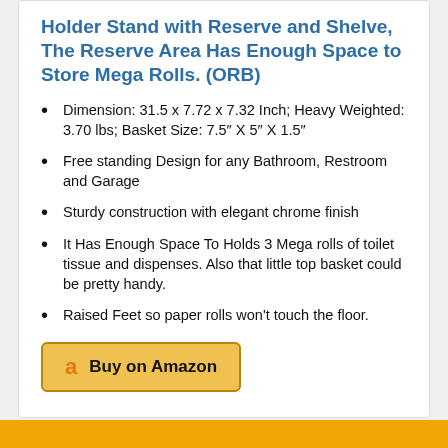Holder Stand with Reserve and Shelve, The Reserve Area Has Enough Space to Store Mega Rolls. (ORB)
Dimension: 31.5 x 7.72 x 7.32 Inch; Heavy Weighted: 3.70 lbs; Basket Size: 7.5″ X 5″ X 1.5″
Free standing Design for any Bathroom, Restroom and Garage
Sturdy construction with elegant chrome finish
It Has Enough Space To Holds 3 Mega rolls of toilet tissue and dispenses. Also that little top basket could be pretty handy.
Raised Feet so paper rolls won't touch the floor.
Buy on Amazon